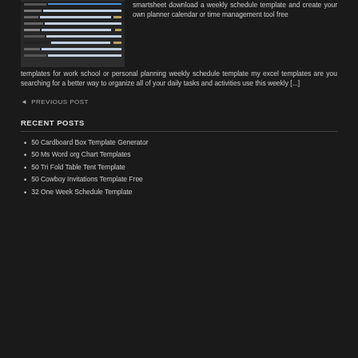[Figure (screenshot): Screenshot of a weekly schedule spreadsheet/Gantt-style template with blue and beige colored cells and row labels]
smartsheet download a weekly schedule template and create your own planner calendar or time management tool free templates for work school or personal planning weekly schedule template my excel templates are you searching for a better way to organize all of your daily tasks and activities use this weekly [...]
◄ PREVIOUS POST
RECENT POSTS
50 Cardboard Box Template Generator
50 Ms Word org Chart Templates
50 Tri Fold Table Tent Template
50 Cowboy Invitations Template Free
32 One Week Schedule Template